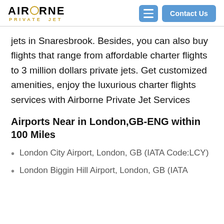AIRBORNE PRIVATE JET — Contact Us
jets in Snaresbrook. Besides, you can also buy flights that range from affordable charter flights to 3 million dollars private jets. Get customized amenities, enjoy the luxurious charter flights services with Airborne Private Jet Services
Airports Near in London,GB-ENG within 100 Miles
London City Airport, London, GB (IATA Code:LCY)
London Biggin Hill Airport, London, GB (IATA